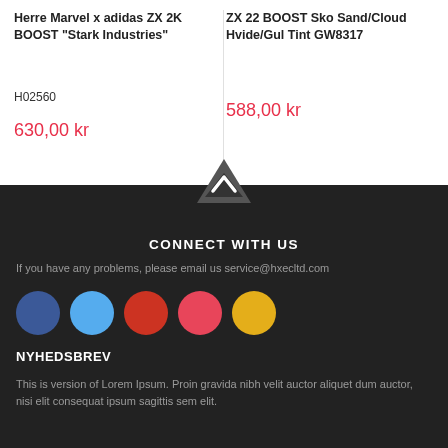Herre Marvel x adidas ZX 2K BOOST "Stark Industries"
H02560
630,00 kr
ZX 22 BOOST Sko Sand/Cloud White/Gul Tint GW8317
588,00 kr
CONNECT WITH US
If you have any problems, please email us service@hxecltd.com
[Figure (illustration): Five social media icon circles: Facebook (blue), Twitter (light blue), YouTube (red-orange), Instagram/other (pink-red), and a gold circle.]
NYHEDSBREV
This is version of Lorem Ipsum. Proin gravida nibh velit auctor aliquet dum auctor, nisi elit consequat ipsum sagittis sem elit.